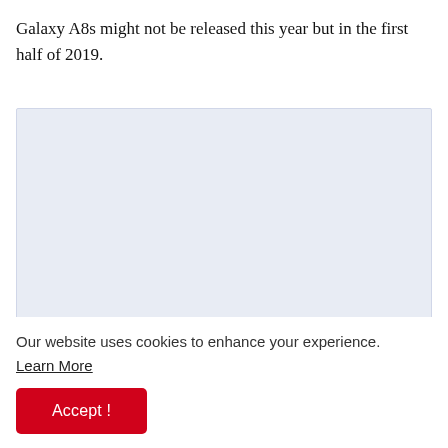Galaxy A8s might not be released this year but in the first half of 2019.
[Figure (other): Light blue/grey rectangular placeholder advertisement block]
Our website uses cookies to enhance your experience. Learn More
Accept !